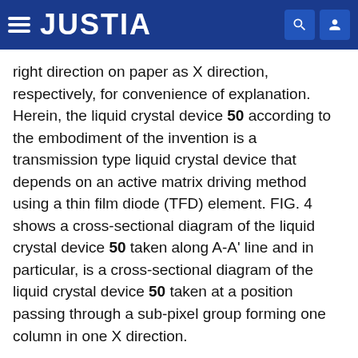JUSTIA
right direction on paper as X direction, respectively, for convenience of explanation. Herein, the liquid crystal device 50 according to the embodiment of the invention is a transmission type liquid crystal device that depends on an active matrix driving method using a thin film diode (TFD) element. FIG. 4 shows a cross-sectional diagram of the liquid crystal device 50 taken along A-A' line and in particular, is a cross-sectional diagram of the liquid crystal device 50 taken at a position passing through a sub-pixel group forming one column in one X direction.
The cross-sectional configuration of the liquid crystal device 50 will first be described with reference to FIG. 4.
The liquid crystal device 50 is constituted by forming a liquid crystal layer 4 by cladding an element substrate 91 and a color filter substrate 92 disposed to be opposite